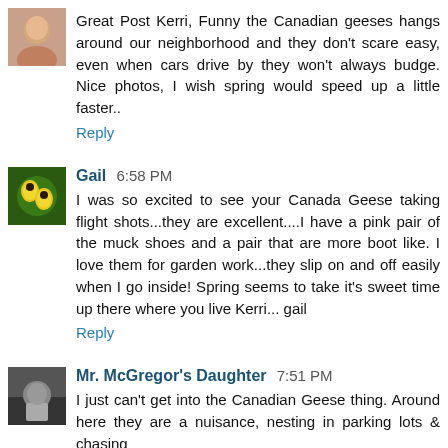Great Post Kerri, Funny the Canadian geeses hangs around our neighborhood and they don't scare easy, even when cars drive by they won't always budge. Nice photos, I wish spring would speed up a little faster..
Reply
Gail 6:58 PM
I was so excited to see your Canada Geese taking flight shots...they are excellent....I have a pink pair of the muck shoes and a pair that are more boot like. I love them for garden work...they slip on and off easily when I go inside! Spring seems to take it's sweet time up there where you live Kerri... gail
Reply
Mr. McGregor's Daughter 7:51 PM
I just can't get into the Canadian Geese thing. Around here they are a nuisance, nesting in parking lots & chasing